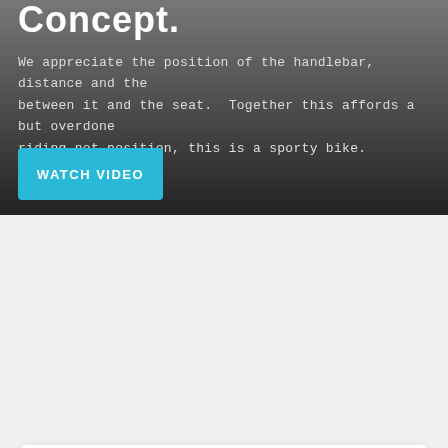Concept.
We appreciate the position of the handlebar, distance and the between it and the seat. Together this affords a but overdone riding not position, this is a sporty bike.
[Figure (screenshot): WATCH VIDEO button in cyan/blue color]
[Figure (screenshot): Filter panel with BRAND, YEAR, PRICE dropdowns and FILTER button in cyan]
BRAND dropdown
YEAR dropdown
PRICE dropdown with FILTER button